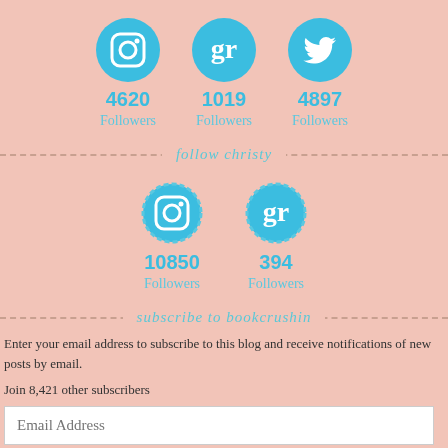[Figure (infographic): Three social media icons (Instagram, Goodreads, Twitter) in blue circles with follower counts: 4620, 1019, 4897]
follow christy
[Figure (infographic): Two social media icons (Instagram, Goodreads) in blue dashed circles with follower counts: 10850, 394]
subscribe to bookcrushin
Enter your email address to subscribe to this blog and receive notifications of new posts by email.
Join 8,421 other subscribers